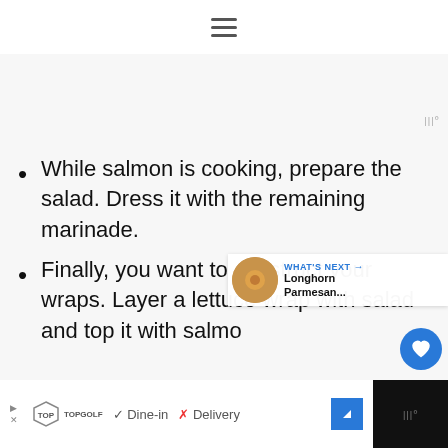≡ (hamburger menu)
While salmon is cooking, prepare the salad. Dress it with the remaining marinade.
Finally, you want to construct your wraps. Layer a lettuce wrap with salad and top it with salmo...
TOPGOLF ✓ Dine-in ✗ Delivery [ad]